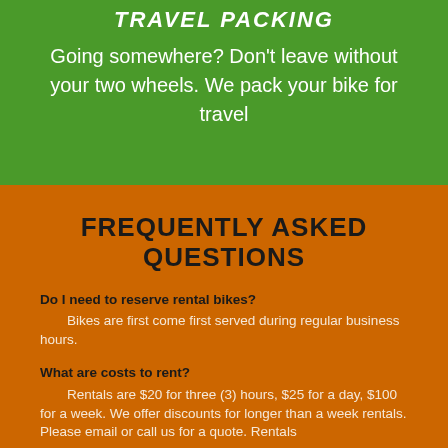TRAVEL PACKING
Going somewhere? Don't leave without your two wheels. We pack your bike for travel
FREQUENTLY ASKED QUESTIONS
Do I need to reserve rental bikes?
        Bikes are first come first served during regular business hours.
What are costs to rent?
        Rentals are $20 for three (3) hours, $25 for a day, $100 for a week. We offer discounts for longer than a week rentals. Please email or call us for a quote. Rentals